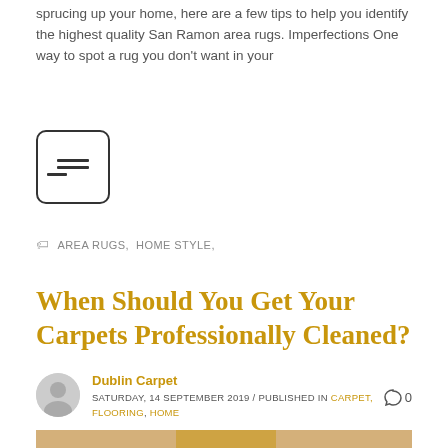sprucing up your home, here are a few tips to help you identify the highest quality San Ramon area rugs. Imperfections One way to spot a rug you don't want in your
[Figure (other): A small square icon button with three horizontal lines (hamburger/menu icon) inside a rounded rectangle border]
AREA RUGS,  HOME STYLE,
When Should You Get Your Carpets Professionally Cleaned?
Dublin Carpet
SATURDAY, 14 SEPTEMBER 2019 / PUBLISHED IN CARPET, FLOORING, HOME
[Figure (photo): A golden retriever dog sitting on a light-colored floor next to a dark brown rug, looking up and smiling]